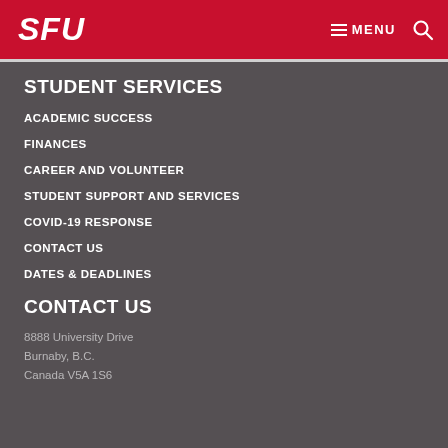SFU | MENU
STUDENT SERVICES
ACADEMIC SUCCESS
FINANCES
CAREER AND VOLUNTEER
STUDENT SUPPORT AND SERVICES
COVID-19 RESPONSE
CONTACT US
DATES & DEADLINES
CONTACT US
8888 University Drive
Burnaby, B.C.
Canada V5A 1S6